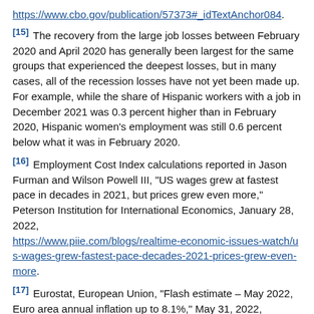https://www.cbo.gov/publication/57373#_idTextAnchor084.
[15] The recovery from the large job losses between February 2020 and April 2020 has generally been largest for the same groups that experienced the deepest losses, but in many cases, all of the recession losses have not yet been made up. For example, while the share of Hispanic workers with a job in December 2021 was 0.3 percent higher than in February 2020, Hispanic women's employment was still 0.6 percent below what it was in February 2020.
[16] Employment Cost Index calculations reported in Jason Furman and Wilson Powell III, "US wages grew at fastest pace in decades in 2021, but prices grew even more," Peterson Institution for International Economics, January 28, 2022, https://www.piie.com/blogs/realtime-economic-issues-watch/us-wages-grew-fastest-pace-decades-2021-prices-grew-even-more.
[17] Eurostat, European Union, "Flash estimate – May 2022, Euro area annual inflation up to 8.1%," May 31, 2022, https://ec.europa.eu/eurostat/documents/2995521/14636256/2-31052022-AP-EN.pdf/3ba84e21-80e6-fc2f-6354-2b84b1ec5d35